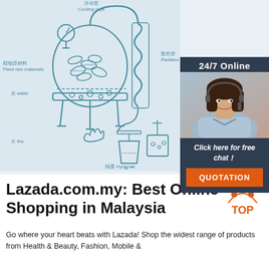[Figure (schematic): Technical diagram of a plant distillation apparatus with labeled components in Chinese and English: 冷却管 Cooling pipe (top), 散热管 Radiator tube (right), 植物原材料 Plant raw materials (left), 水 water (lower left), 火 fire (bottom left), 纯露 Hydrosol (bottom center-right). Shows a heated vessel with plant material, cooling coil, and collection beaker.]
[Figure (photo): Advertisement banner showing a smiling female customer service agent with headset, dark background, text '24/7 Online', 'Click here for free chat!', orange button labeled 'QUOTATION']
Lazada.com.my: Best Online Shopping in Malaysia
Go where your heart beats with Lazada! Shop the widest range of products from Health & Beauty, Fashion, Mobile &